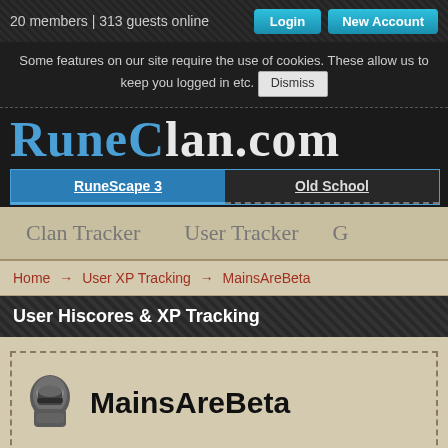20 members | 313 guests online
Some features on our site require the use of cookies. These allow us to keep you logged in etc. Dismiss
RuneClan.com
RuneScape 3   Old School
Clan Tracker   User Tracker   G
Home → User XP Tracking → MainsAreBeta
User Hiscores & XP Tracking
MainsAreBeta